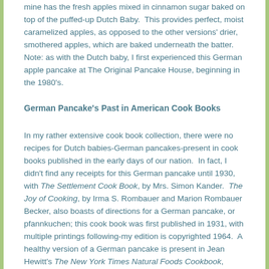mine has the fresh apples mixed in cinnamon sugar baked on top of the puffed-up Dutch Baby.  This provides perfect, moist caramelized apples, as opposed to the other versions' drier, smothered apples, which are baked underneath the batter.  Note: as with the Dutch baby, I first experienced this German apple pancake at The Original Pancake House, beginning in the 1980's.
German Pancake's Past in American Cook Books
In my rather extensive cook book collection, there were no recipes for Dutch babies-German pancakes-present in cook books published in the early days of our nation.  In fact, I didn't find any receipts for this German pancake until 1930, with The Settlement Cook Book, by Mrs. Simon Kander.  The Joy of Cooking, by Irma S. Rombauer and Marion Rombauer Becker, also boasts of directions for a German pancake, or pfannkuchen; this cook book was first published in 1931, with multiple printings following-my edition is copyrighted 1964.  A healthy version of a German pancake is present in Jean Hewitt's The New York Times Natural Foods Cookbook, published in 1971.  1
I found a Dutch apple cake in two of my mid-twentieth-century cook books: Fannie Engle's Cook Book, 1946, and The New Century Cook